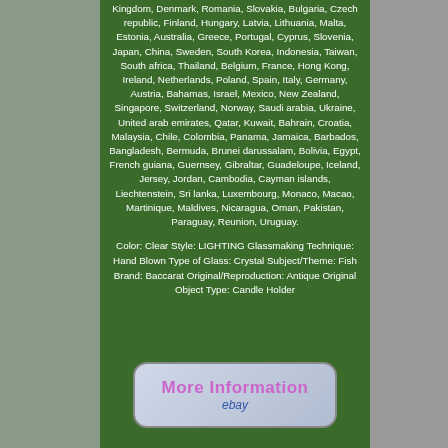Kingdom, Denmark, Romania, Slovakia, Bulgaria, Czech republic, Finland, Hungary, Latvia, Lithuania, Malta, Estonia, Australia, Greece, Portugal, Cyprus, Slovenia, Japan, China, Sweden, South Korea, Indonesia, Taiwan, South africa, Thailand, Belgium, France, Hong Kong, Ireland, Netherlands, Poland, Spain, Italy, Germany, Austria, Bahamas, Israel, Mexico, New Zealand, Singapore, Switzerland, Norway, Saudi arabia, Ukraine, United arab emirates, Qatar, Kuwait, Bahrain, Croatia, Malaysia, Chile, Colombia, Panama, Jamaica, Barbados, Bangladesh, Bermuda, Brunei darussalam, Bolivia, Egypt, French guiana, Guernsey, Gibraltar, Guadeloupe, Iceland, Jersey, Jordan, Cambodia, Cayman islands, Liechtenstein, Sri lanka, Luxembourg, Monaco, Macao, Martinique, Maldives, Nicaragua, Oman, Pakistan, Paraguay, Reunion, Uruguay.
Color: Clear Style: LIGHTING Glassmaking Technique: Hand Blown Type of Glass: Crystal Subject/Theme: Fish Brand: Baccarat Original/Reproduction: Antique Original Object Type: Candle Holder
[Figure (other): eBay More Information button - rounded rectangle button with gradient background showing 'More Information' text in pink/purple and 'ebay' text in blue italic below]